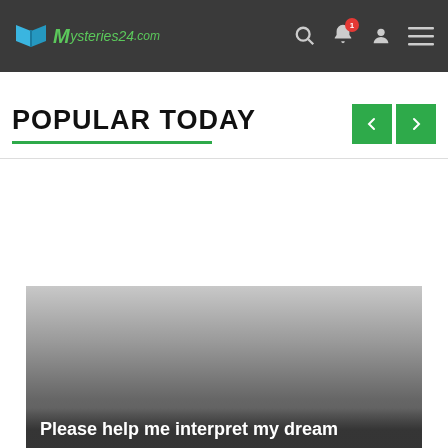Mysteries24.com
POPULAR TODAY
[Figure (photo): Article card with grey gradient background showing article title: Please help me interpret my dream]
Please help me interpret my dream